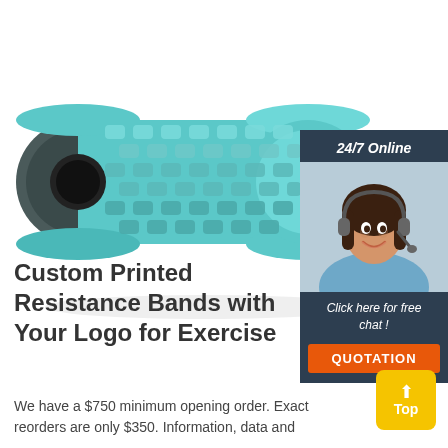[Figure (photo): A teal/aqua foam roller with a textured grid surface, hollow center, shown at an angle on a white background]
[Figure (illustration): 24/7 Online chat widget showing a smiling female customer service representative wearing a headset, with 'Click here for free chat!' and an orange QUOTATION button, on a dark blue-grey background]
Custom Printed Resistance Bands with Your Logo for Exercise
We have a $750 minimum opening order. Exact reorders are only $350. Information, data and
[Figure (illustration): Yellow 'Top' button with upward arrow icon]